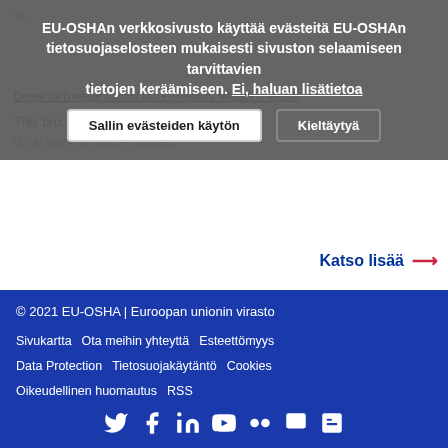Center for Disease Control and Prevention, Ministry of Health
This bro... exercises to do at work for office workers.
EU-OSHAn verkkosivusto käyttää evästeitä EU-OSHAn tietosuojaselosteen mukaisesti sivuston selaamiseen tarvittavien tietojen keräämiseen. Ei, haluan lisätietoa
Sallin evästeiden käytön
Kieltäytyä
Katso lisää →
© 2021 EU-OSHA | Euroopan unionin virasto
Sivukartta   Ota meihin yhteyttä   Esteettömyys
Data Protection   Tietosuojakäytäntö   Cookies
Oikeudellinen huomautus   RSS